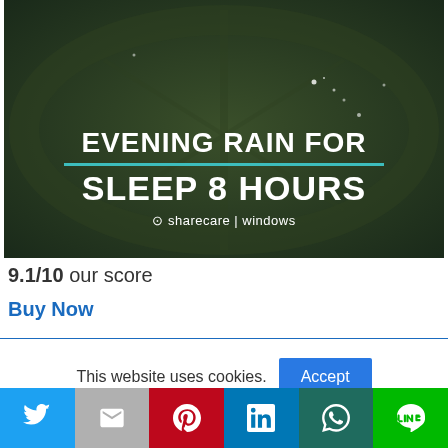[Figure (photo): Dark green leaf background with water droplets. White bold text reads 'EVENING RAIN FOR SLEEP 8 HOURS' with a teal divider line. Brand line reads '@sharecare | windows'.]
9.1/10 our score
Buy Now
This website uses cookies.
Accept
[Figure (infographic): Social sharing bar with icons: Twitter (blue), Gmail (gray), Pinterest (red), LinkedIn (blue), WhatsApp (dark teal), Line (green)]